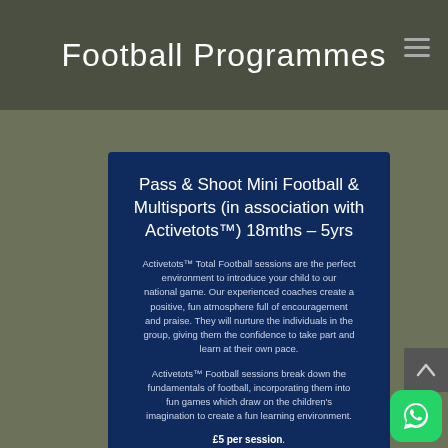Football Programmes
Pass & Shoot Mini Football & Multisports (in association with Activetots™) 18mths – 5yrs
Activetots™ Total Football sessions are the perfect environment to introduce your child to our national game. Our experienced coaches create a positive, fun atmosphere full of encouragement and praise. They will nurture the individuals in the group, giving them the confidence to take part and learn at their own pace.
Activetots™ Football sessions break down the fundamentals of football, incorporating them into fun games which draw on the children's imagination to create a fun learning environment.
£5 per session.
10 weeks programme: £50 for 10 weeks (paid in advance).